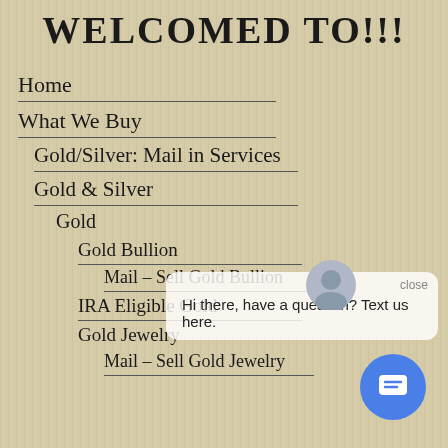WELCOMED TO!!!
Home
What We Buy
Gold/Silver: Mail in Services
Gold & Silver
Gold
Gold Bullion
Mail – Sell Gold Bullion
IRA Eligible Gold
Gold Jewelry
Mail – Sell Gold Jewelry